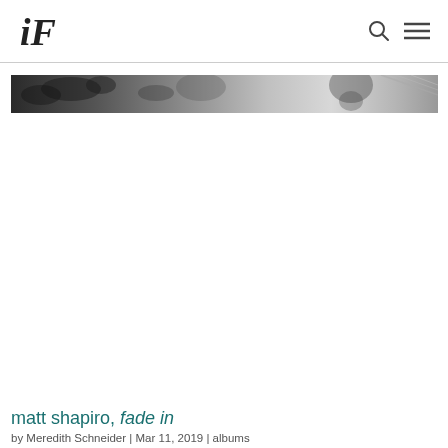iF [logo] | search icon | menu icon
[Figure (photo): Black and white banner photo showing trees or foliage with a person, cropped to a wide narrow strip]
matt shapiro, fade in
by Meredith Schneider | Mar 11, 2019 | albums